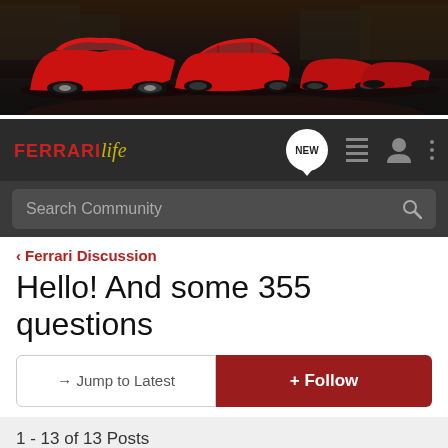[Figure (photo): Banner photo showing multiple red Ferrari cars arranged in a row on a dark cobblestone setting at night]
[Figure (logo): Ferrari Life logo — FERRARI in red bold text with italic cursive 'life' in gold/yellow]
Search Community
< Ferrari Discussion
Hello! And some 355 questions
→ Jump to Latest
+ Follow
1 - 13 of 13 Posts
Vomit · Registered
Joined Mar 17, 2005 · 10 Posts